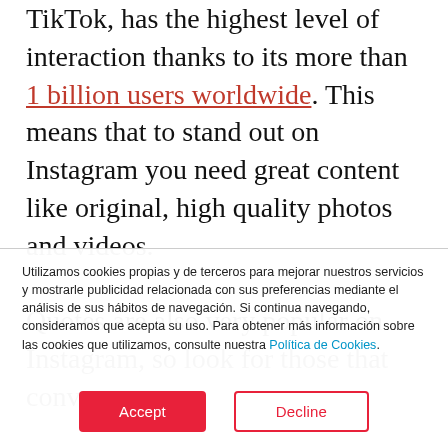TikTok, has the highest level of interaction thanks to its more than 1 billion users worldwide. This means that to stand out on Instagram you need great content like original, high quality photos and videos.

Quotes are also very popular on Instagram, so look for those that convey
Utilizamos cookies propias y de terceros para mejorar nuestros servicios y mostrarle publicidad relacionada con sus preferencias mediante el análisis de sus hábitos de navegación. Si continua navegando, consideramos que acepta su uso. Para obtener más información sobre las cookies que utilizamos, consulte nuestra Política de Cookies.